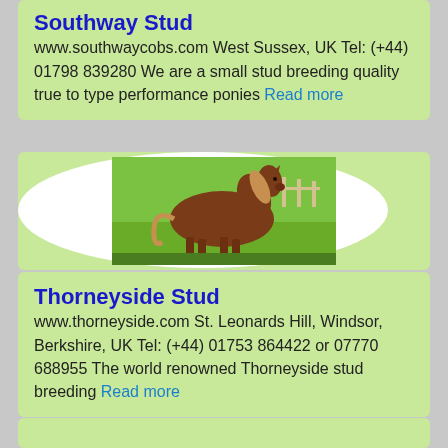Southway Stud
www.southwaycobs.com West Sussex, UK Tel: (+44) 01798 839280 We are a small stud breeding quality true to type performance ponies Read more
[Figure (photo): A brown horse with white feet standing on grass in a paddock, shown in profile view inside a white oval on a green background]
Thorneyside Stud
www.thorneyside.com St. Leonards Hill, Windsor, Berkshire, UK Tel: (+44) 01753 864422 or 07770 688955 The world renowned Thorneyside stud breeding Read more